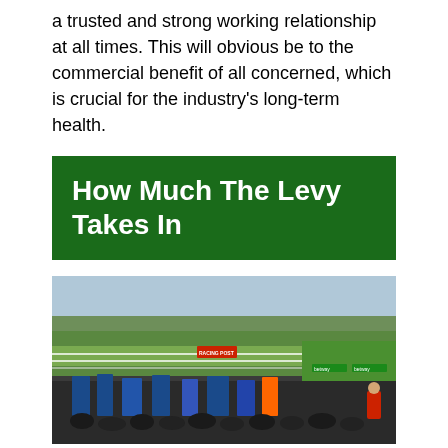a trusted and strong working relationship at all times. This will obvious be to the commercial benefit of all concerned, which is crucial for the industry's long-term health.
How Much The Levy Takes In
[Figure (photo): Aerial/grandstand view of a horse racing venue showing the track, grandstand area, bookmakers' stalls and crowds of people in the foreground. A green racecourse with white railings is visible in the background.]
The fact that the levy is charged on the gross profit that bookmakers make from bets on horse racing means that how much it is worth will differ from year to year. As you